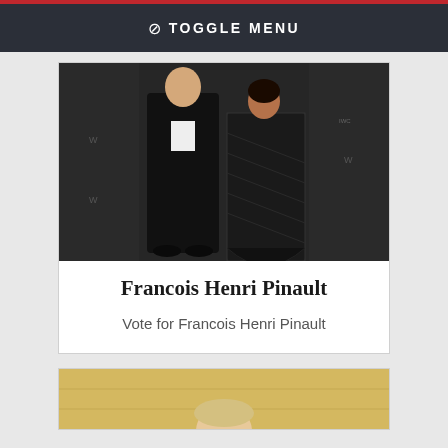⊘ TOGGLE MENU
[Figure (photo): A man in a black tuxedo with bow tie and a woman in a black gown posing at a formal event with branded backdrop.]
Francois Henri Pinault
Vote for Francois Henri Pinault
[Figure (photo): Partial view of a second card showing a person's head/shoulders against a light wood-paneled background.]